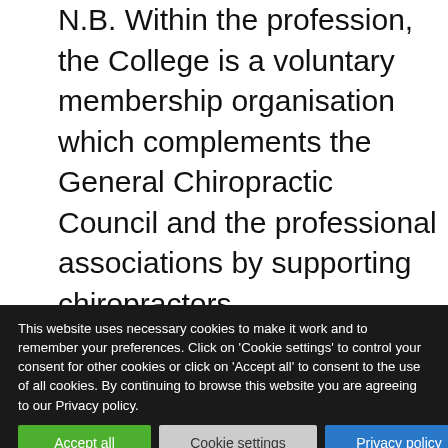N.B. Within the profession, the College is a voluntary membership organisation which complements the General Chiropractic Council and the professional associations by supporting chiropractors
This website uses necessary cookies to make it work and to remember your preferences. Click on 'Cookie settings' to control your consent for other cookies or click on 'Accept all' to consent to the use of all cookies. By continuing to browse this website you are agreeing to our Privacy policy.
Accept all
Cookie settings
Privacy policy